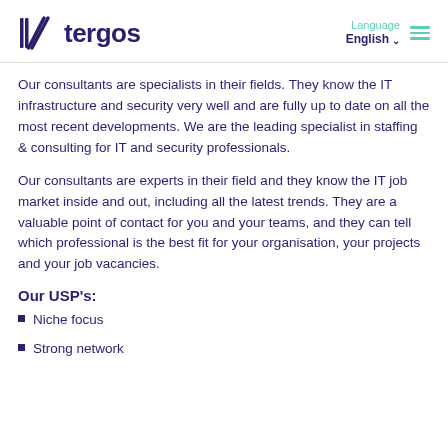tergos | Language English
Our consultants are specialists in their fields. They know the IT infrastructure and security very well and are fully up to date on all the most recent developments. We are the leading specialist in staffing & consulting for IT and security professionals.
Our consultants are experts in their field and they know the IT job market inside and out, including all the latest trends. They are a valuable point of contact for you and your teams, and they can tell which professional is the best fit for your organisation, your projects and your job vacancies.
Our USP's:
Niche focus
Strong network